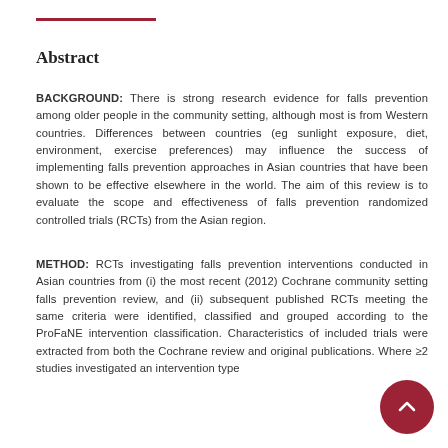Abstract
BACKGROUND: There is strong research evidence for falls prevention among older people in the community setting, although most is from Western countries. Differences between countries (eg sunlight exposure, diet, environment, exercise preferences) may influence the success of implementing falls prevention approaches in Asian countries that have been shown to be effective elsewhere in the world. The aim of this review is to evaluate the scope and effectiveness of falls prevention randomized controlled trials (RCTs) from the Asian region.
METHOD: RCTs investigating falls prevention interventions conducted in Asian countries from (i) the most recent (2012) Cochrane community setting falls prevention review, and (ii) subsequent published RCTs meeting the same criteria were identified, classified and grouped according to the ProFaNE intervention classification. Characteristics of included trials were extracted from both the Cochrane review and original publications. Where ≥2 studies investigated an intervention type